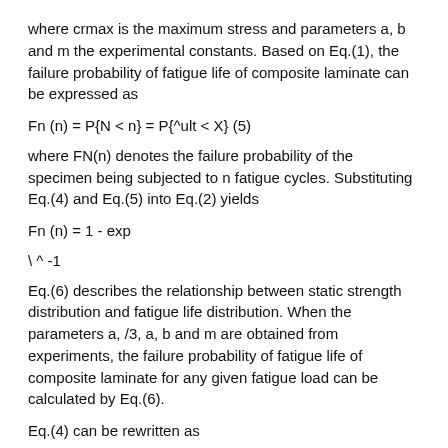where crmax is the maximum stress and parameters a, b and m the experimental constants. Based on Eq.(1), the failure probability of fatigue life of composite laminate can be expressed as
where FN(n) denotes the failure probability of the specimen being subjected to n fatigue cycles. Substituting Eq.(4) and Eq.(5) into Eq.(2) yields
Eq.(6) describes the relationship between static strength distribution and fatigue life distribution. When the parameters a, /3, a, b and m are obtained from experiments, the failure probability of fatigue life of composite laminate for any given fatigue load can be calculated by Eq.(6).
Eq.(4) can be rewritten as
When the experimental data of fatigue life are obtained, the estimated static strength a* can be